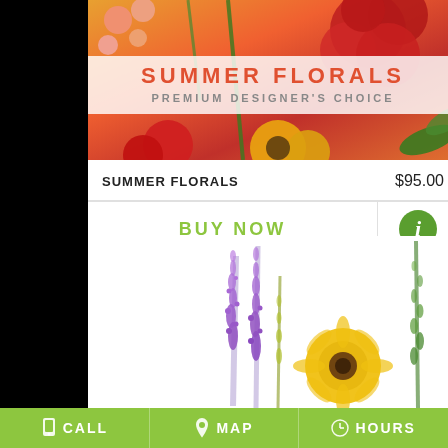[Figure (photo): Summer florals product image showing red ranunculus, yellow sunflowers, and orange flowers with text overlay 'SUMMER FLORALS PREMIUM DESIGNER'S CHOICE']
SUMMER FLORALS
PREMIUM DESIGNER'S CHOICE
| Product | Price |
| --- | --- |
| SUMMER FLORALS | $95.00 |
BUY NOW
[Figure (photo): Flower arrangement with purple liatris spikes, yellow gerbera daisy, and green stems on white background]
CALL   MAP   HOURS